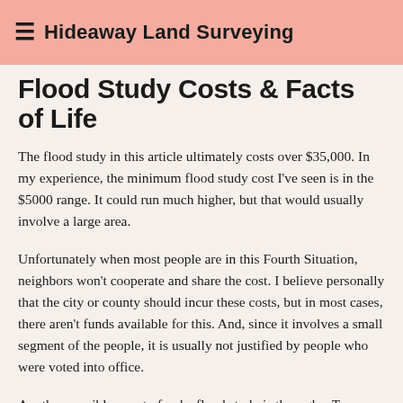Hideaway Land Surveying
Flood Study Costs & Facts of Life
The flood study in this article ultimately costs over $35,000. In my experience, the minimum flood study cost I've seen is in the $5000 range. It could run much higher, but that would usually involve a large area.
Unfortunately when most people are in this Fourth Situation, neighbors won't cooperate and share the cost. I believe personally that the city or county should incur these costs, but in most cases, there aren't funds available for this. And, since it involves a small segment of the people, it is usually not justified by people who were voted into office.
Another possible way to fund a flood study is through a Tax Assessment from the jurisdiction involved. This would require the individuals who are helped by the flood study to pay up when and if